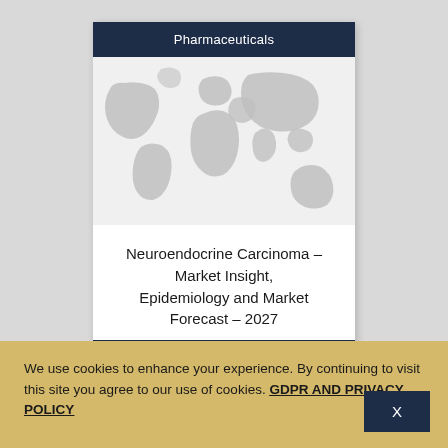Pharmaceuticals
[Figure (map): World map in light grey tones on white background]
Neuroendocrine Carcinoma - Market Insight, Epidemiology and Market Forecast - 2027
www.nxtgenreports.com
We use cookies to enhance your experience. By continuing to visit this site you agree to our use of cookies. GDPR AND PRIVACY POLICY